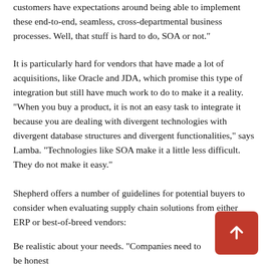customers have expectations around being able to implement these end-to-end, seamless, cross-departmental business processes. Well, that stuff is hard to do, SOA or not."
It is particularly hard for vendors that have made a lot of acquisitions, like Oracle and JDA, which promise this type of integration but still have much work to do to make it a reality. "When you buy a product, it is not an easy task to integrate it because you are dealing with divergent technologies with divergent database structures and divergent functionalities," says Lamba. "Technologies like SOA make it a little less difficult. They do not make it easy."
Shepherd offers a number of guidelines for potential buyers to consider when evaluating supply chain solutions from either ERP or best-of-breed vendors:
Be realistic about your needs. "Companies need to be honest with themselves about what they need, functionality they actually